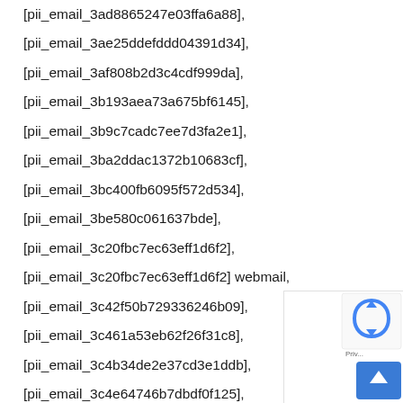[pii_email_3ad8865247e03ffa6a88],
[pii_email_3ae25ddefddd04391d34],
[pii_email_3af808b2d3c4cdf999da],
[pii_email_3b193aea73a675bf6145],
[pii_email_3b9c7cadc7ee7d3fa2e1],
[pii_email_3ba2ddac1372b10683cf],
[pii_email_3bc400fb6095f572d534],
[pii_email_3be580c061637bde],
[pii_email_3c20fbc7ec63eff1d6f2],
[pii_email_3c20fbc7ec63eff1d6f2] webmail,
[pii_email_3c42f50b729336246b09],
[pii_email_3c461a53eb62f26f31c8],
[pii_email_3c4b34de2e37cd3e1ddb],
[pii_email_3c4e64746b7dbdf0f125],
[pii_email_3c64b6f83345abd303ad],